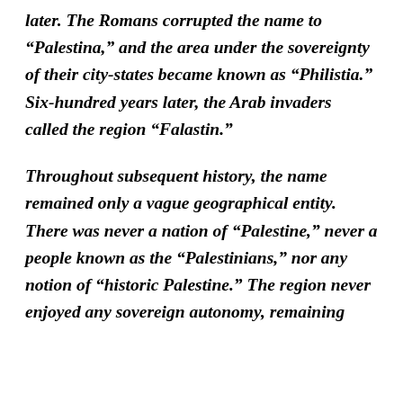later. The Romans corrupted the name to “Palestina,” and the area under the sovereignty of their city-states became known as “Philistia.” Six-hundred years later, the Arab invaders called the region “Falastin.”
Throughout subsequent history, the name remained only a vague geographical entity. There was never a nation of “Palestine,” never a people known as the “Palestinians,” nor any notion of “historic Palestine.” The region never enjoyed any sovereign autonomy, remaining